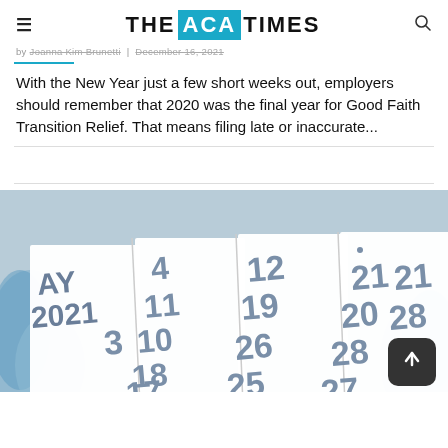THE ACA TIMES
by Joanna Kim Brunetti | December 16, 2021
With the New Year just a few short weeks out, employers should remember that 2020 was the final year for Good Faith Transition Relief. That means filing late or inaccurate...
[Figure (photo): A 2021 calendar close-up showing date numbers 3,4,10,11,12,17,18,19,20,21,24,25,26,27,28 on white pages with blue feather background, partially cropped]